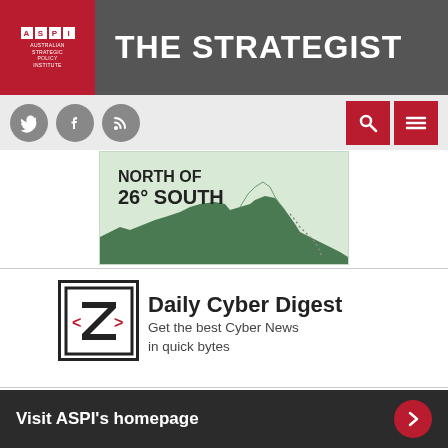THE STRATEGIST - ASPI Australian Strategic Policy Institute
[Figure (logo): ASPI logo and nav icons: Twitter, Facebook, RSS feed, search and menu buttons]
[Figure (map): Map showing northern Australia with text 'NORTH OF 26° SOUTH']
[Figure (logo): Daily Cyber Digest logo with angular Z and angle bracket symbols]
Daily Cyber Digest
Get the best Cyber News in quick bytes
Visit ASPI's homepage